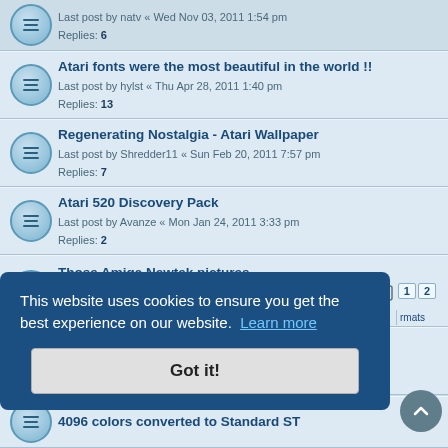Last post by natv « Wed Nov 03, 2011 1:54 pm
Replies: 6
Atari fonts were the most beautiful in the world !!
Last post by hylst « Thu Apr 28, 2011 1:40 pm
Replies: 13
Regenerating Nostalgia - Atari Wallpaper
Last post by Shredder11 « Sun Feb 20, 2011 7:57 pm
Replies: 7
Atari 520 Discovery Pack
Last post by Avanze « Mon Jan 24, 2011 3:33 pm
Replies: 2
Those Amiga Newtek pictures
Last post by Nyh « Wed Jan 13, 2010 11:50 am
Replies: 29
Tribute to Neochrome
Last post by wongck « Fri Jan 08, 2010 3:17 pm
Replies: 3
This website uses cookies to ensure you get the best experience on our website. Learn more
Got it!
4096 colors converted to Standard ST